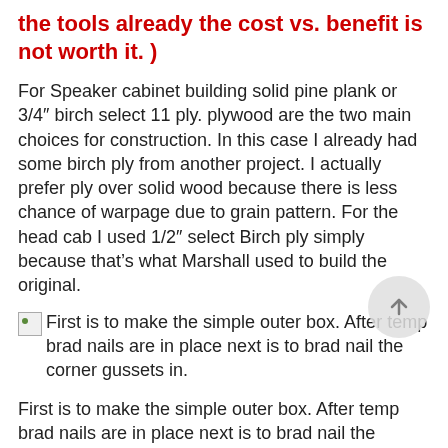the tools already the cost vs. benefit is not worth it. )
For Speaker cabinet building solid pine plank or 3/4″ birch select 11 ply. plywood are the two main choices for construction. In this case I already had some birch ply from another project. I actually prefer ply over solid wood because there is less chance of warpage due to grain pattern. For the head cab I used 1/2″ select Birch ply simply because that’s what Marshall used to build the original.
First is to make the simple outer box. After temp brad nails are in place next is to brad nail the corner gussets in.
First is to make the simple outer box. After temp brad nails are in place next is to brad nail the corner gussets in.